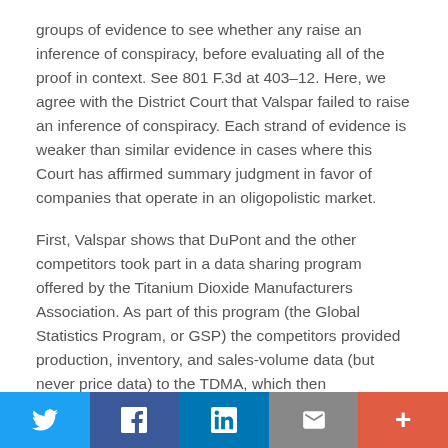groups of evidence to see whether any raise an inference of conspiracy, before evaluating all of the proof in context. See 801 F.3d at 403–12. Here, we agree with the District Court that Valspar failed to raise an inference of conspiracy. Each strand of evidence is weaker than similar evidence in cases where this Court has affirmed summary judgment in favor of companies that operate in an oligopolistic market.
First, Valspar shows that DuPont and the other competitors took part in a data sharing program offered by the Titanium Dioxide Manufacturers Association. As part of this program (the Global Statistics Program, or GSP) the competitors provided production, inventory, and sales-volume data (but never price data) to the TDMA, which then aggregated, anonymized, and redistributed the data.
Without citing any precedent to show why this type of
Twitter | Facebook | LinkedIn | Email | Plus